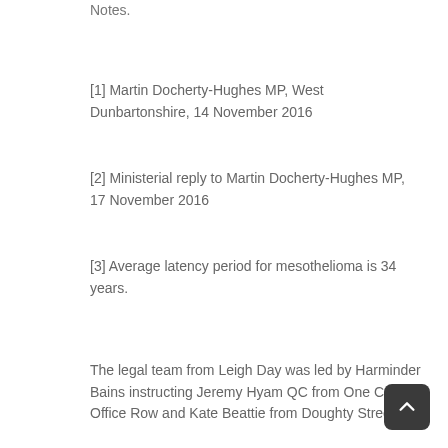Notes.
[1] Martin Docherty-Hughes MP, West Dunbartonshire, 14 November 2016
[2] Ministerial reply to Martin Docherty-Hughes MP, 17 November 2016
[3] Average latency period for mesothelioma is 34 years.
The legal team from Leigh Day was led by Harminder Bains instructing Jeremy Hyam QC from One Crown Office Row and Kate Beattie from Doughty Street